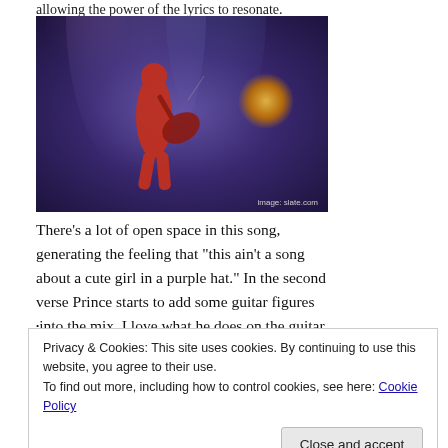allowing the power of the lyrics to resonate.
[Figure (photo): Prince performing on stage playing guitar, wearing a red outfit, with purple and blue stage lighting and an orange/gold orb light visible in background. Image credit: slate.com]
There’s a lot of open space in this song, generating the feeling that “this ain’t a song about a cute girl in a purple hat.” In the second verse Prince starts to add some guitar figures •into the mix. I love what he does on the guitar
Privacy & Cookies: This site uses cookies. By continuing to use this website, you agree to their use.
To find out more, including how to control cookies, see here: Cookie Policy
Close and accept